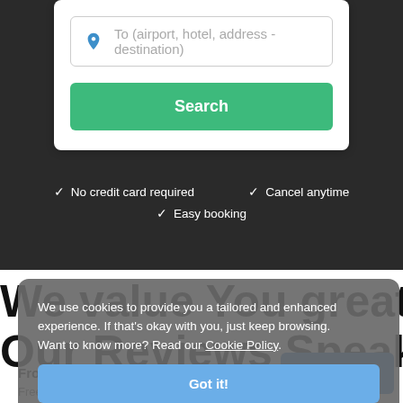[Figure (screenshot): Search input field with location pin icon and placeholder text 'To (airport, hotel, address - destination)']
[Figure (screenshot): Green Search button]
✓ No credit card required
✓ Cancel anytime
✓ Easy booking
We value You greatly!
Our Reviews Speak for
From 25 €
Free cancellation
We use cookies to provide you a tailored and enhanced experience. If that's okay with you, just keep browsing.
Want to know more? Read our Cookie Policy.
Got it!
Book Now